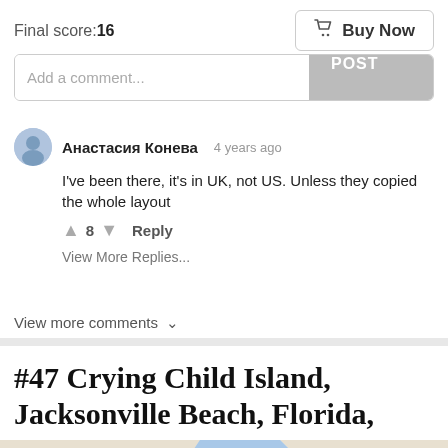Final score: 16
Buy Now
Add a comment...
POST
Анастасия Конева  4 years ago
I've been there, it's in UK, not US. Unless they copied the whole layout
↑ 8 ↓  Reply
View More Replies...
View more comments ∨
#47 Crying Child Island, Jacksonville Beach, Florida, USA
[Figure (map): Google Maps style map showing water and land areas near Jacksonville Beach, Florida. Blue water channels with beige/tan land areas.]